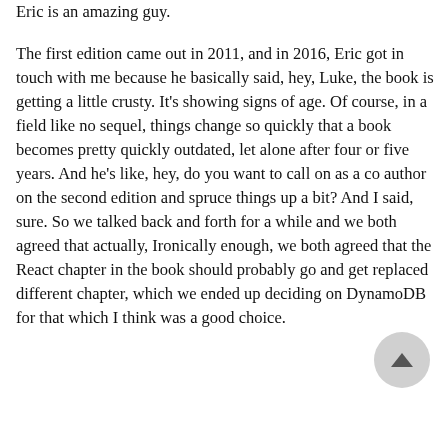Eric is an amazing guy.
The first edition came out in 2011, and in 2016, Eric got in touch with me because he basically said, hey, Luke, the book is getting a little crusty. It's showing signs of age. Of course, in a field like no sequel, things change so quickly that a book becomes pretty quickly outdated, let alone after four or five years. And he's like, hey, do you want to call on as a co author on the second edition and spruce things up a bit? And I said, sure. So we talked back and forth for a while and we both agreed that actually, Ironically enough, we both agreed that the React chapter in the book should probably go and get replaced different chapter, which we ended up deciding on DynamoDB for that which I think was a good choice. but to next chapter that became on the book is